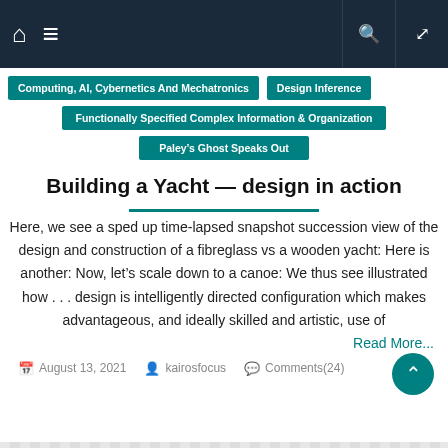Navigation bar with home, menu, search, shuffle icons
Computing, AI, Cybernetics And Mechatronics
Design Inference
Functionally Specified Complex Information & Organization
Paley's Ghost Speaks Out
Building a Yacht — design in action
Here, we see a sped up time-lapsed snapshot succession view of the design and construction of a fibreglass vs a wooden yacht: Here is another: Now, let's scale down to a canoe: We thus see illustrated how . . . design is intelligently directed configuration which makes advantageous, and ideally skilled and artistic, use of
Read More...
August 13, 2021  kairosfocus  Comments(24)